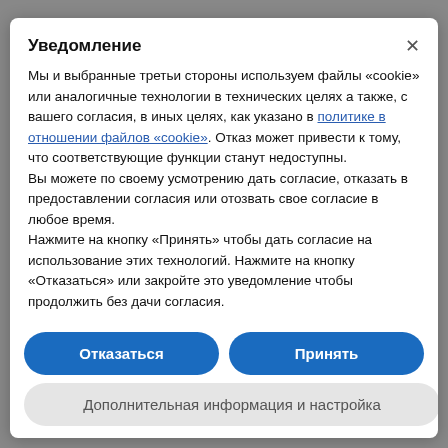Уведомление
Мы и выбранные третьи стороны используем файлы «cookie» или аналогичные технологии в технических целях а также, с вашего согласия, в иных целях, как указано в политике в отношении файлов «cookie». Отказ может привести к тому, что соответствующие функции станут недоступны.
Вы можете по своему усмотрению дать согласие, отказать в предоставлении согласия или отозвать свое согласие в любое время.
Нажмите на кнопку «Принять» чтобы дать согласие на использование этих технологий. Нажмите на кнопку «Отказаться» или закройте это уведомление чтобы продолжить без дачи согласия.
Отказаться
Принять
Дополнительная информация и настройка